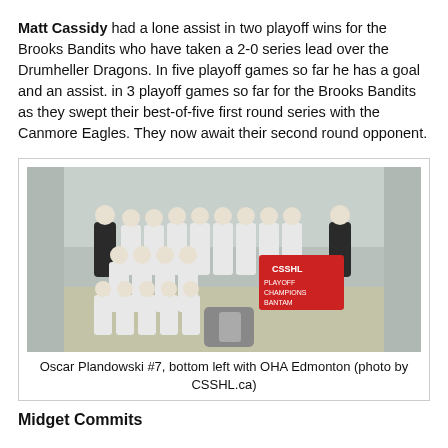Matt Cassidy had a lone assist in two playoff wins for the Brooks Bandits who have taken a 2-0 series lead over the Drumheller Dragons. In five playoff games so far he has a goal and an assist. in 3 playoff games so far for the Brooks Bandits as they swept their best-of-five first round series with the Canmore Eagles. They now await their second round opponent.
[Figure (photo): Team photo of hockey players in white uniforms posing together on ice, holding a CSSHL Playoff Champions banner.]
Oscar Plandowski #7, bottom left with OHA Edmonton (photo by CSSHL.ca)
Midget Commits